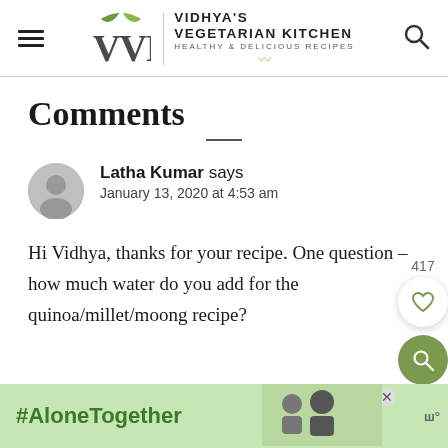Vidhya's Vegetarian Kitchen – Healthy & Delicious Recipes
Comments
Latha Kumar says
January 13, 2020 at 4:53 am
Hi Vidhya, thanks for your recipe. One question – how much water do you add for the quinoa/millet/moong recipe?
#AloneTogether